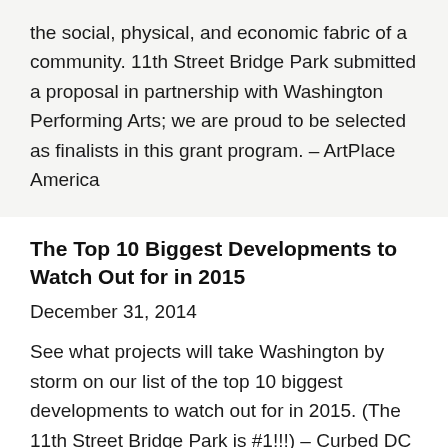the social, physical, and economic fabric of a community. 11th Street Bridge Park submitted a proposal in partnership with Washington Performing Arts; we are proud to be selected as finalists in this grant program. – ArtPlace America
The Top 10 Biggest Developments to Watch Out for in 2015
December 31, 2014
See what projects will take Washington by storm on our list of the top 10 biggest developments to watch out for in 2015. (The 11th Street Bridge Park is #1!!!) – Curbed DC
Building a Park to Span a Divide in